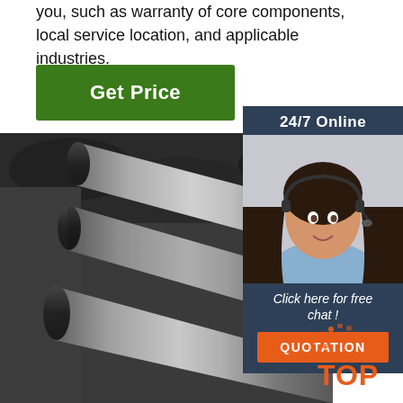you, such as warranty of core components, local service location, and applicable industries.
Get Price
[Figure (photo): Three long cylindrical steel/metal round bars laid side by side on a dark surface]
24/7 Online
[Figure (photo): Smiling woman with headset, customer service representative]
Click here for free chat !
QUOTATION
[Figure (logo): TOP badge logo with orange dots and text]